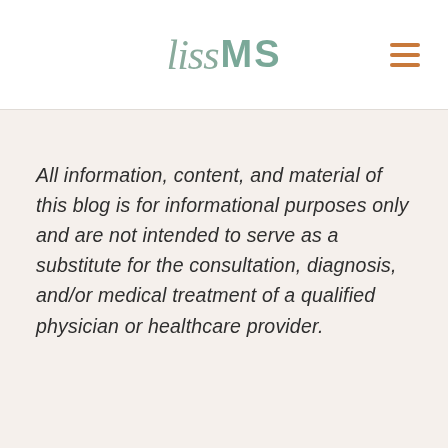liss MS
All information, content, and material of this blog is for informational purposes only and are not intended to serve as a substitute for the consultation, diagnosis, and/or medical treatment of a qualified physician or healthcare provider.